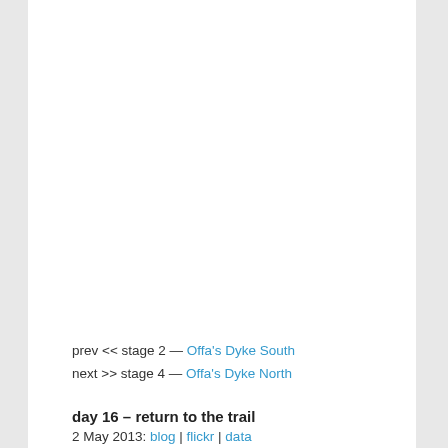prev << stage 2 — Offa's Dyke South
next >> stage 4 — Offa's Dyke North
day 16 – return to the trail
2 May 2013: blog | flickr | data